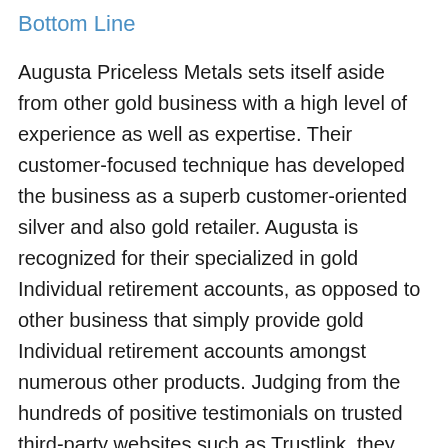Bottom Line
Augusta Priceless Metals sets itself aside from other gold business with a high level of experience as well as expertise. Their customer-focused technique has developed the business as a superb customer-oriented silver and also gold retailer. Augusta is recognized for their specialized in gold Individual retirement accounts, as opposed to other business that simply provide gold Individual retirement accounts amongst numerous other products. Judging from the hundreds of positive testimonials on trusted third-party websites such as Trustlink, they have successfully established themselves apart as well as gained the trust fund of their consumers.